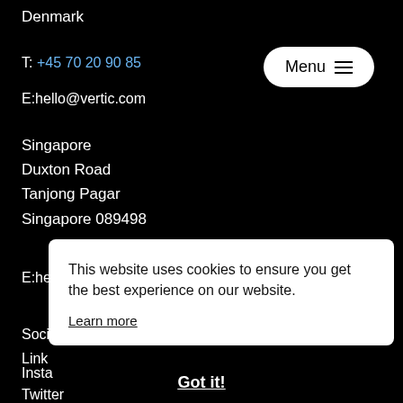Denmark
T: +45 70 20 90 85
E:hello@vertic.com
[Figure (other): Menu button with hamburger icon in white rounded rectangle on black background]
Singapore
Duxton Road
Tanjong Pagar
Singapore 089498
E:he...
Soci...
Link...
Insta...
Twitter
This website uses cookies to ensure you get the best experience on our website.
Learn more
Got it!